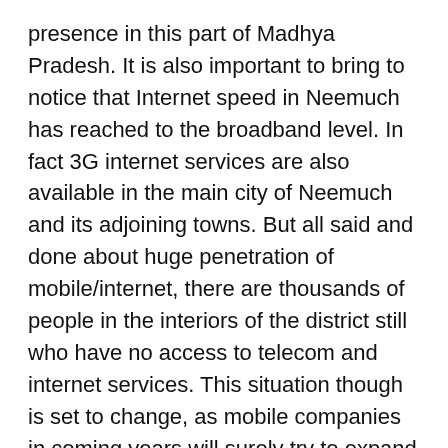presence in this part of Madhya Pradesh. It is also important to bring to notice that Internet speed in Neemuch has reached to the broadband level. In fact 3G internet services are also available in the main city of Neemuch and its adjoining towns. But all said and done about huge penetration of mobile/internet, there are thousands of people in the interiors of the district still who have no access to telecom and internet services. This situation though is set to change, as mobile companies in coming years will surely try to expand their network base.
You may also like to visit
Apparel Stores in Neemuch